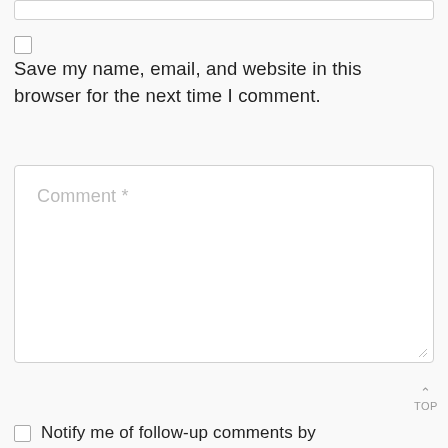Save my name, email, and website in this browser for the next time I comment.
Comment *
Notify me of follow-up comments by